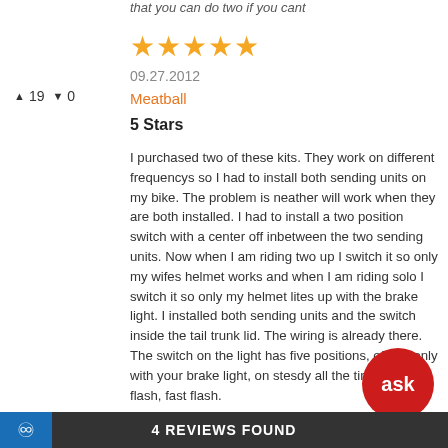that you can do two if you cant
[Figure (other): Five orange star rating icons]
09.27.2012
Meatball
▲19  ▼0
5 Stars
I purchased two of these kits. They work on different frequencys so I had to install both sending units on my bike. The problem is neather will work when they are both installed. I had to install a two position switch with a center off inbetween the two sending units. Now when I am riding two up I switch it so only my wifes helmet works and when I am riding solo I switch it so only my helmet lites up with the brake light. I installed both sending units and the switch inside the tail trunk lid. The wiring is already there. The switch on the light has five positions, off, on only with your brake light, on stesdy all the time, slow flash, fast flash.
4 REVIEWS FOUND